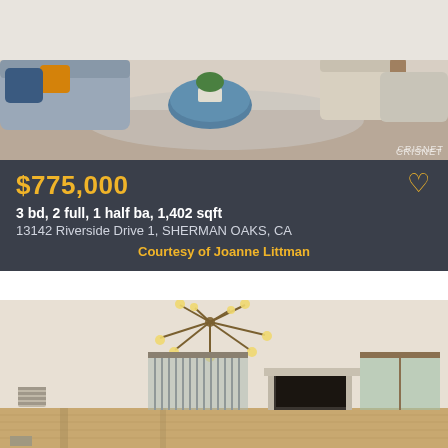[Figure (photo): Interior living room photo showing modern furniture, blue coffee table, sofa with orange pillow, and arm chairs]
$775,000
3 bd, 2 full, 1 half ba, 1,402 sqft
13142 Riverside Drive 1, SHERMAN OAKS, CA
Courtesy of Joanne Littman
[Figure (photo): Interior room photo showing empty room with hardwood floors, fireplace, sputnik chandelier, sliding glass doors with vertical blinds, and window]